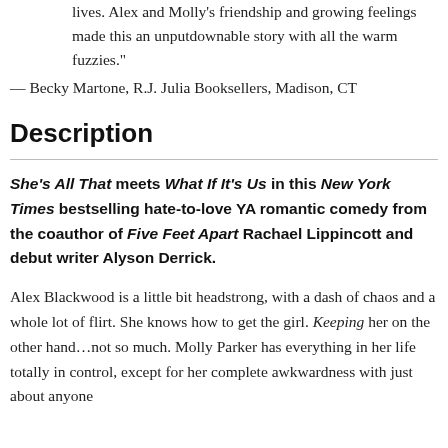lives. Alex and Molly's friendship and growing feelings made this an unputdownable story with all the warm fuzzies."
— Becky Martone, R.J. Julia Booksellers, Madison, CT
Description
She's All That meets What If It's Us in this New York Times bestselling hate-to-love YA romantic comedy from the coauthor of Five Feet Apart Rachael Lippincott and debut writer Alyson Derrick.
Alex Blackwood is a little bit headstrong, with a dash of chaos and a whole lot of flirt. She knows how to get the girl. Keeping her on the other hand…not so much. Molly Parker has everything in her life totally in control, except for her complete awkwardness with just about anyone